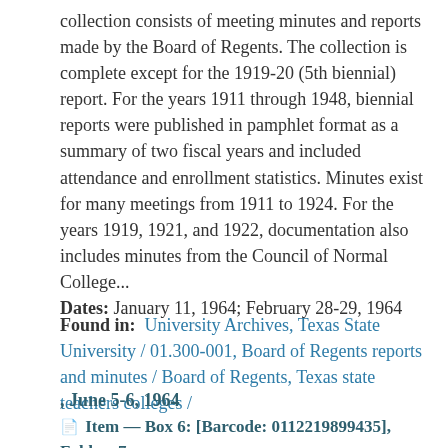collection consists of meeting minutes and reports made by the Board of Regents. The collection is complete except for the 1919-20 (5th biennial) report. For the years 1911 through 1948, biennial reports were published in pamphlet format as a summary of two fiscal years and included attendance and enrollment statistics. Minutes exist for many meetings from 1911 to 1924. For the years 1919, 1921, and 1922, documentation also includes minutes from the Council of Normal College...
Dates: January 11, 1964; February 28-29, 1964
Found in: University Archives, Texas State University / 01.300-001, Board of Regents reports and minutes / Board of Regents, Texas state teachers colleges /
, June 5-6, 1964
Item — Box 6: [Barcode: 0112219899435], Folder: 7